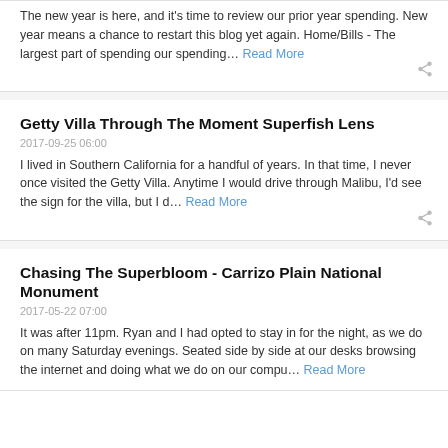The new year is here, and it's time to review our prior year spending. New year means a chance to restart this blog yet again. Home/Bills - The largest part of spending our spending… Read More
Getty Villa Through The Moment Superfish Lens
2017-09-25 06:00
I lived in Southern California for a handful of years. In that time, I never once visited the Getty Villa. Anytime I would drive through Malibu, I'd see the sign for the villa, but I d… Read More
Chasing The Superbloom - Carrizo Plain National Monument
2017-05-22 07:00
It was after 11pm. Ryan and I had opted to stay in for the night, as we do on many Saturday evenings. Seated side by side at our desks browsing the internet and doing what we do on our compu… Read More